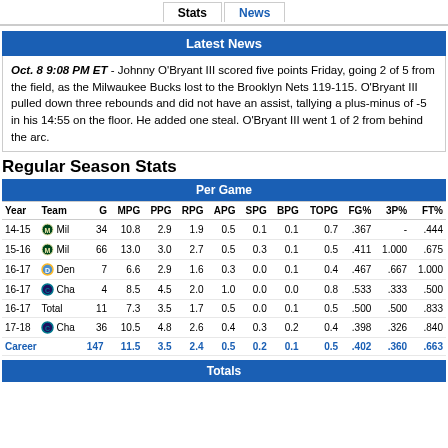Stats | News
Latest News
Oct. 8 9:08 PM ET - Johnny O'Bryant III scored five points Friday, going 2 of 5 from the field, as the Milwaukee Bucks lost to the Brooklyn Nets 119-115. O'Bryant III pulled down three rebounds and did not have an assist, tallying a plus-minus of -5 in his 14:55 on the floor. He added one steal. O'Bryant III went 1 of 2 from behind the arc.
Regular Season Stats
| Year | Team | G | MPG | PPG | RPG | APG | SPG | BPG | TOPG | FG% | 3P% | FT% |
| --- | --- | --- | --- | --- | --- | --- | --- | --- | --- | --- | --- | --- |
| 14-15 | Mil | 34 | 10.8 | 2.9 | 1.9 | 0.5 | 0.1 | 0.1 | 0.7 | .367 | - | .444 |
| 15-16 | Mil | 66 | 13.0 | 3.0 | 2.7 | 0.5 | 0.3 | 0.1 | 0.5 | .411 | 1.000 | .675 |
| 16-17 | Den | 7 | 6.6 | 2.9 | 1.6 | 0.3 | 0.0 | 0.1 | 0.4 | .467 | .667 | 1.000 |
| 16-17 | Cha | 4 | 8.5 | 4.5 | 2.0 | 1.0 | 0.0 | 0.0 | 0.8 | .533 | .333 | .500 |
| 16-17 | Total | 11 | 7.3 | 3.5 | 1.7 | 0.5 | 0.0 | 0.1 | 0.5 | .500 | .500 | .833 |
| 17-18 | Cha | 36 | 10.5 | 4.8 | 2.6 | 0.4 | 0.3 | 0.2 | 0.4 | .398 | .326 | .840 |
| Career |  | 147 | 11.5 | 3.5 | 2.4 | 0.5 | 0.2 | 0.1 | 0.5 | .402 | .360 | .663 |
Totals